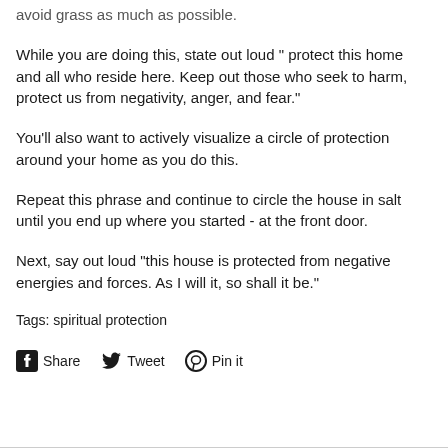avoid grass as much as possible.
While you are doing this, state out loud " protect this home and all who reside here. Keep out those who seek to harm, protect us from negativity, anger, and fear."
You'll also want to actively visualize a circle of protection around your home as you do this.
Repeat this phrase and continue to circle the house in salt until you end up where you started - at the front door.
Next, say out loud "this house is protected from negative energies and forces. As I will it, so shall it be."
Tags: spiritual protection
[Figure (infographic): Social sharing buttons: Facebook Share, Twitter Tweet, Pinterest Pin it]